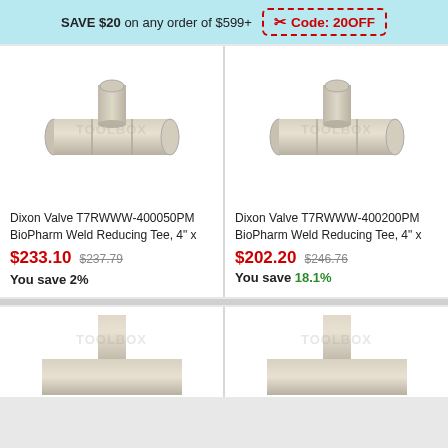SAVE $20 on any order of $599+  Code: 20OFF
[Figure (photo): Dixon Valve T7RWWW-400050PM BioPharm Weld Reducing Tee stainless steel fitting, T-shaped pipe connector]
Dixon Valve T7RWWW-400050PM BioPharm Weld Reducing Tee, 4" x
$233.10  $237.79  You save 2%
[Figure (photo): Dixon Valve T7RWWW-400200PM BioPharm Weld Reducing Tee stainless steel fitting, T-shaped pipe connector]
Dixon Valve T7RWWW-400200PM BioPharm Weld Reducing Tee, 4" x
$202.20  $246.76  You save 18.1%
[Figure (photo): Dixon Valve BioPharm Weld Reducing Tee stainless steel fitting, partially shown at bottom]
[Figure (photo): Dixon Valve BioPharm Weld Reducing Tee stainless steel fitting, partially shown at bottom]